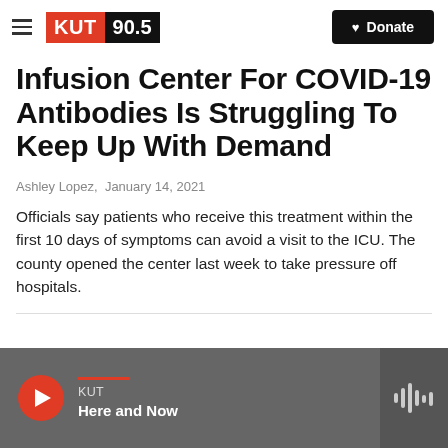KUT 90.5 | Donate
Infusion Center For COVID-19 Antibodies Is Struggling To Keep Up With Demand
Ashley Lopez,  January 14, 2021
Officials say patients who receive this treatment within the first 10 days of symptoms can avoid a visit to the ICU. The county opened the center last week to take pressure off hospitals.
[Figure (other): Audio player bar with KUT station, Here and Now show, red play button, and waveform icon]